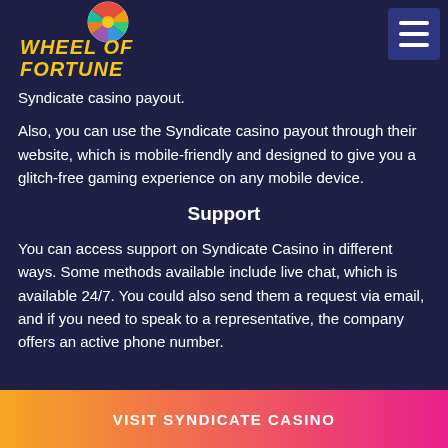[Figure (logo): Wheel of Fortune casino logo with colorful spinning wheel graphic and yellow italic text, plus hamburger menu button in top right]
Syndicate casino payout.
Also, you can use the Syndicate casino payout through their website, which is mobile-friendly and designed to give you a glitch-free gaming experience on any mobile device.
Support
You can access support on Syndicate Casino in different ways. Some methods available include live chat, which is available 24/7. You could also send them a request via email, and if you need to speak to a representative, the company offers an active phone number.
VISIT SYNDICATE CASINO